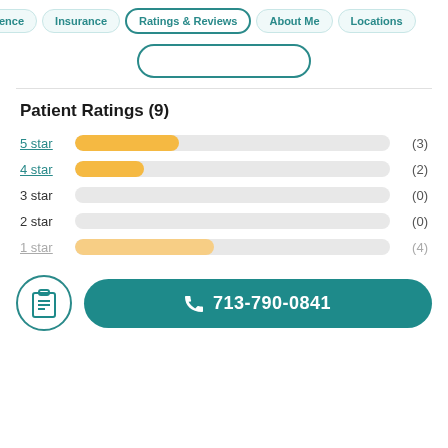ence | Insurance | Ratings & Reviews | About Me | Locations
Patient Ratings (9)
[Figure (bar-chart): Patient Ratings (9)]
713-790-0841